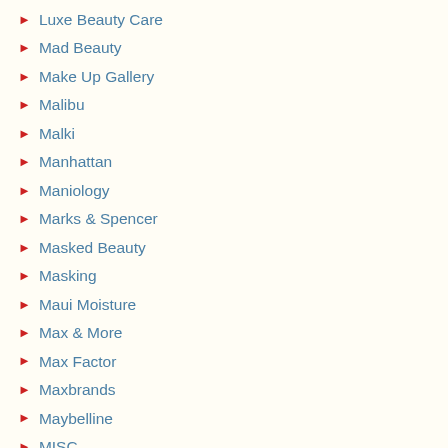Luxe Beauty Care
Mad Beauty
Make Up Gallery
Malibu
Malki
Manhattan
Maniology
Marks & Spencer
Masked Beauty
Masking
Maui Moisture
Max & More
Max Factor
Maxbrands
Maybelline
MISC
Miss Beauty London
Miss Sporty
Mitomo
Models Own